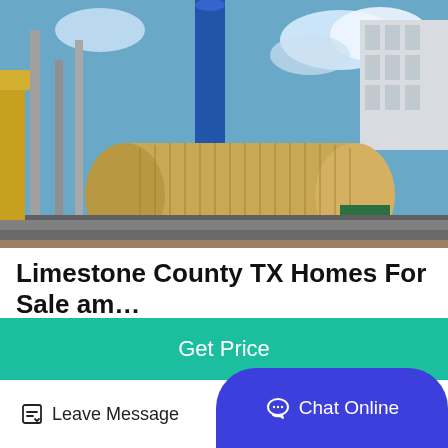[Figure (photo): Industrial facility with large cylindrical drum mill and metal structures, blue sky with clouds in background]
Limestone County TX Homes For Sale am…
Aug 19 2021 52 Homes For Sale in Limestone County TX Browse photos see new properties get open house info and research neighborhoods on Trulia
Get Price
Leave Message
Chat Online